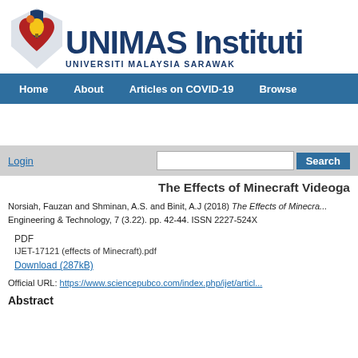[Figure (logo): UNIMAS Institutional Repository logo with icon and text UNIMAS Institutio... UNIVERSITI MALAYSIA SARAWAK]
Home   About   Articles on COVID-19   Browse
Login
The Effects of Minecraft Videoga...
Norsiah, Fauzan and Shminan, A.S. and Binit, A.J (2018) The Effects of Minecra... Engineering & Technology, 7 (3.22). pp. 42-44. ISSN 2227-524X
PDF
IJET-17121 (effects of Minecraft).pdf
Download (287kB)
Official URL: https://www.sciencepubco.com/index.php/ijet/articl...
Abstract